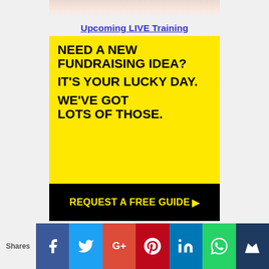[Figure (screenshot): Partial top of a decorative image, cropped at top of page]
Upcoming LIVE Training
[Figure (infographic): Yellow and black advertisement banner: NEED A NEW FUNDRAISING IDEA? IT'S YOUR LUCKY DAY. WE'VE GOT LOTS OF THOSE. REQUEST A FREE GUIDE >]
[Figure (infographic): Social sharing bar with Facebook, Twitter, Google+, Pinterest, LinkedIn, WhatsApp, and crown icon buttons. Shares label on left.]